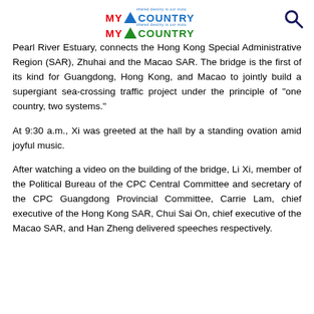MY COUNTRY MY COUNTRY — shared destiny is our moto
Pearl River Estuary, connects the Hong Kong Special Administrative Region (SAR), Zhuhai and the Macao SAR. The bridge is the first of its kind for Guangdong, Hong Kong, and Macao to jointly build a supergiant sea-crossing traffic project under the principle of "one country, two systems."
At 9:30 a.m., Xi was greeted at the hall by a standing ovation amid joyful music.
After watching a video on the building of the bridge, Li Xi, member of the Political Bureau of the CPC Central Committee and secretary of the CPC Guangdong Provincial Committee, Carrie Lam, chief executive of the Hong Kong SAR, Chui Sai On, chief executive of the Macao SAR, and Han Zheng delivered speeches respectively.